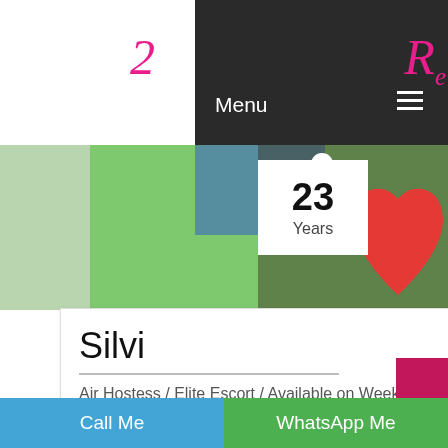Menu ☰
[Figure (photo): Website header with dark navigation bar showing 'Menu' text and hamburger icon, pink/magenta cursive logo on white background on sides]
[Figure (photo): Photo collage background with green, blue and white elements, age badge showing '23 Years' in white box, red heart shape on right]
Silvi
Air Hostess / Elite Escort / Available on Weekends only
Dungarpur Escorts Services
Call Me | WhatsApp Me